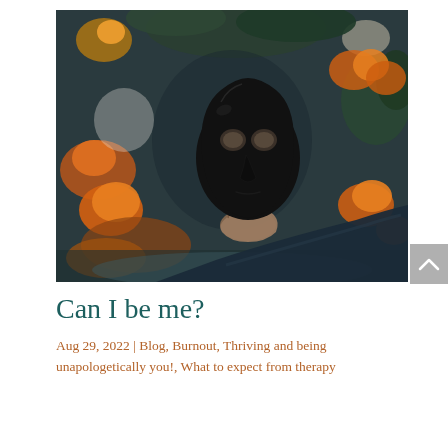[Figure (photo): A hand holding up a black theatrical mask against a blurred autumn background with orange pumpkins and fall foliage]
Can I be me?
Aug 29, 2022 | Blog, Burnout, Thriving and being unapologetically you!, What to expect from therapy